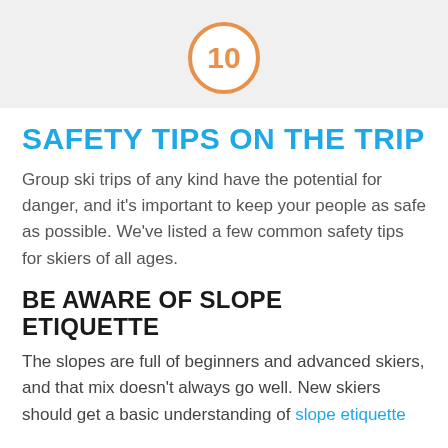[Figure (other): Orange circle with number 10 on a light gray banner background]
SAFETY TIPS ON THE TRIP
Group ski trips of any kind have the potential for danger, and it's important to keep your people as safe as possible. We've listed a few common safety tips for skiers of all ages.
BE AWARE OF SLOPE ETIQUETTE
The slopes are full of beginners and advanced skiers, and that mix doesn't always go well. New skiers should get a basic understanding of slope etiquette